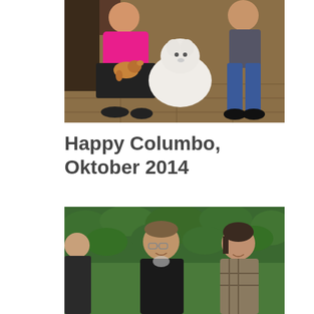[Figure (photo): Two people and two dogs indoors on a tiled floor. A woman in pink holds a small brown dog, and a man in jeans crouches beside a large white fluffy dog.]
Happy Columbo, Oktober 2014
[Figure (photo): Three people outdoors in front of green hedges. A man in a black leather jacket with glasses smiles, and a young woman with short dark hair smiles to his right. Part of another person is visible on the left.]